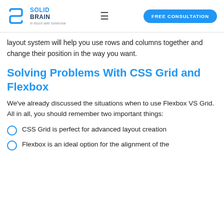SOLID BRAIN — in touch with tomorrow | FREE CONSULTATION
layout system will help you use rows and columns together and change their position in the way you want.
Solving Problems With CSS Grid and Flexbox
We've already discussed the situations when to use Flexbox VS Grid. All in all, you should remember two important things:
CSS Grid is perfect for advanced layout creation
Flexbox is an ideal option for the alignment of the